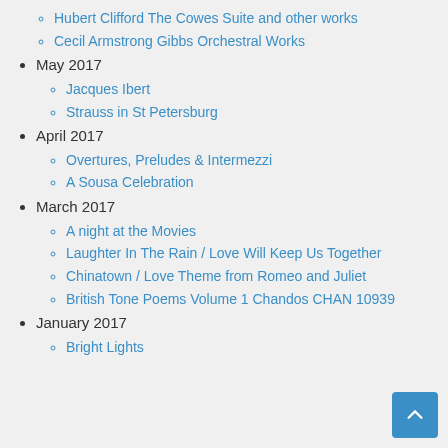Hubert Clifford The Cowes Suite and other works
Cecil Armstrong Gibbs Orchestral Works
May 2017
Jacques Ibert
Strauss in St Petersburg
April 2017
Overtures, Preludes & Intermezzi
A Sousa Celebration
March 2017
A night at the Movies
Laughter In The Rain / Love Will Keep Us Together
Chinatown / Love Theme from Romeo and Juliet
British Tone Poems Volume 1 Chandos CHAN 10939
January 2017
Bright Lights